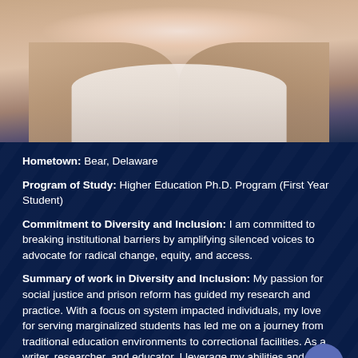[Figure (photo): Headshot photo of a person wearing a light pink/beige blazer over a white shirt, upper body visible against a light background]
Hometown: Bear, Delaware
Program of Study: Higher Education Ph.D. Program (First Year Student)
Commitment to Diversity and Inclusion: I am committed to breaking institutional barriers by amplifying silenced voices to advocate for radical change, equity, and access.
Summary of work in Diversity and Inclusion: My passion for social justice and prison reform has guided my research and practice. With a focus on system impacted individuals, my love for serving marginalized students has led me on a journey from traditional education environments to correctional facilities. As a writer, researcher, and educator, I leverage my abilities and get proximate to make change from the inside out.